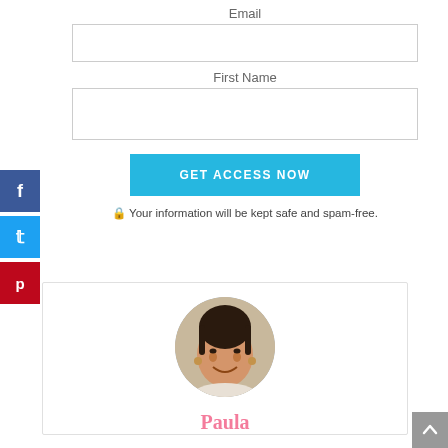Email
First Name
GET ACCESS NOW
Your information will be kept safe and spam-free.
[Figure (photo): Circular profile photo of a smiling woman with dark hair, presumably Paula]
Paula